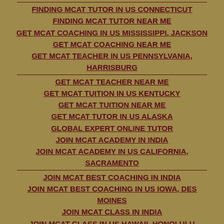FINDING MCAT TUTOR IN US CONNECTICUT
FINDING MCAT TUTOR NEAR ME
GET MCAT COACHING IN US MISSISSIPPI, JACKSON
GET MCAT COACHING NEAR ME
GET MCAT TEACHER IN US PENNSYLVANIA, HARRISBURG
GET MCAT TEACHER NEAR ME
GET MCAT TUITION IN US KENTUCKY
GET MCAT TUITION NEAR ME
GET MCAT TUTOR IN US ALASKA
GLOBAL EXPERT ONLINE TUTOR
JOIN MCAT ACADEMY IN INDIA
JOIN MCAT ACADEMY IN US CALIFORNIA, SACRAMENTO
JOIN MCAT BEST COACHING IN INDIA
JOIN MCAT BEST COACHING IN US IOWA, DES MOINES
JOIN MCAT CLASS IN INDIA
JOIN MCAT CLASS IN US HAWAII, HONOLULU
JOIN MCAT CLASSES ONLINE IN INDIA